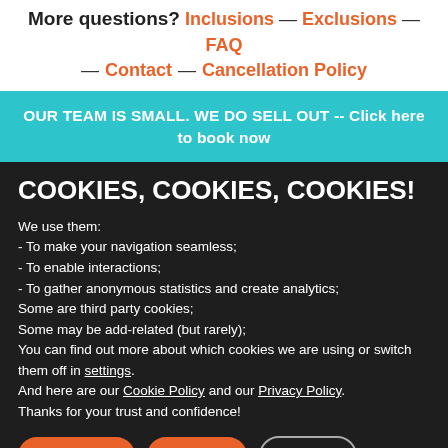More questions? Inclusions — Exclusions — FAQ — Contact — Cancellation Policy
OUR TEAM IS SMALL. WE DO SELL OUT -- Click here to book now
COOKIES, COOKIES, COOKIES!
We use them:
- To make your navigation seamless;
- To enable interactions;
- To gather anonymous statistics and create analytics;
Some are third party cookies;
Some may be add-related (but rarely);
You can find out more about which cookies we are using or switch them off in settings.
And here are our Cookie Policy and our Privacy Policy.
Thanks for your trust and confidence!
ACCEPT :)
Reject :(
Settings